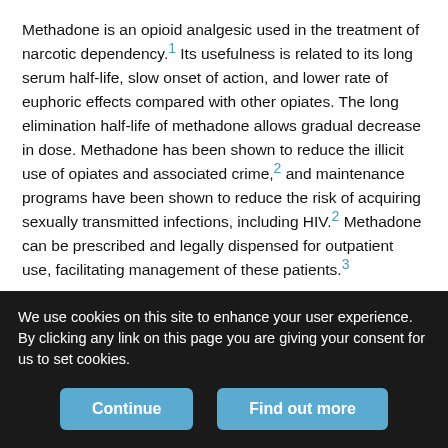Methadone is an opioid analgesic used in the treatment of narcotic dependency.1 Its usefulness is related to its long serum half-life, slow onset of action, and lower rate of euphoric effects compared with other opiates. The long elimination half-life of methadone allows gradual decrease in dose. Methadone has been shown to reduce the illicit use of opiates and associated crime,2 and maintenance programs have been shown to reduce the risk of acquiring sexually transmitted infections, including HIV.2 Methadone can be prescribed and legally dispensed for outpatient use, facilitating management of these patients.3
Although chemically different from morphine, methadone has similar clinical analgesic effects. It is well absorbed from the gastrointestinal
We use cookies on this site to enhance your user experience. By clicking any link on this page you are giving your consent for us to set cookies.